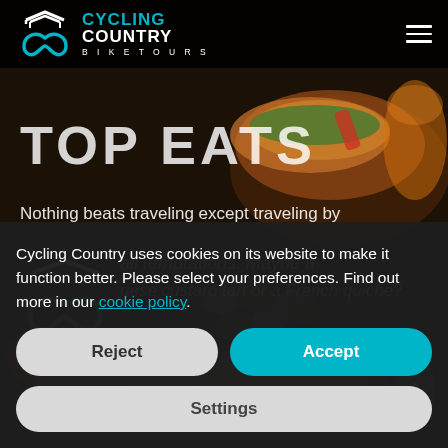[Figure (screenshot): Website screenshot of Cycling Country Bike Tours - Top Eats page with food photography background showing hotdogs with toppings and olives in dark bowls]
CYCLING COUNTRY BIKE TOURS
TOP EATS
Nothing beats traveling except traveling by
all temptations. Maybe a
uese custard tart or a French quiche?
Let our Food Articles inspire your taste
Cycling Country uses cookies on its website to make it function better. Please select your preferences. Find out more in our cookie policy.
Reject
Accept
Settings